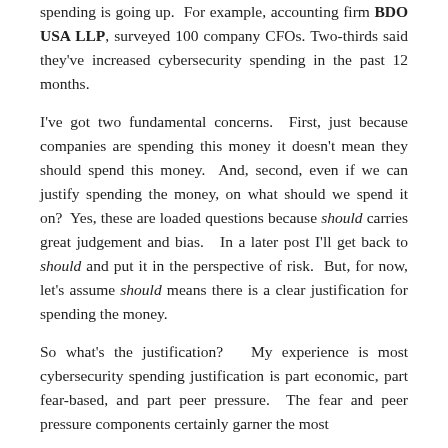spending is going up. For example, accounting firm BDO USA LLP, surveyed 100 company CFOs. Two-thirds said they've increased cybersecurity spending in the past 12 months.
I've got two fundamental concerns. First, just because companies are spending this money it doesn't mean they should spend this money. And, second, even if we can justify spending the money, on what should we spend it on? Yes, these are loaded questions because should carries great judgement and bias. In a later post I'll get back to should and put it in the perspective of risk. But, for now, let's assume should means there is a clear justification for spending the money.
So what's the justification? My experience is most cybersecurity spending justification is part economic, part fear-based, and part peer pressure. The fear and peer pressure components certainly garner the most